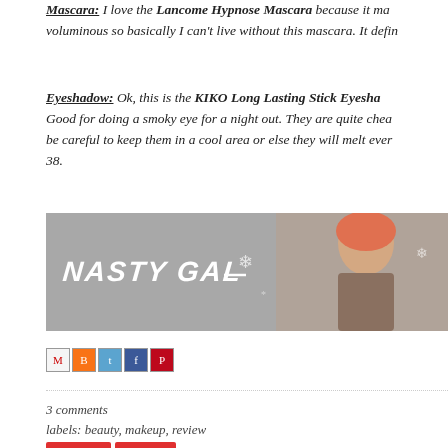Mascara: I love the Lancome Hypnose Mascara because it makes lashes voluminous so basically I can't live without this mascara. It defin...
Eyeshadow: Ok, this is the KIKO Long Lasting Stick Eyesha... Good for doing a smoky eye for a night out. They are quite chea... be careful to keep them in a cool area or else they will melt ever... 38.
[Figure (photo): Nasty Gal advertisement banner showing logo text and a woman with pink/red hair against a gray background with snowflake decorations]
[Figure (infographic): Social sharing icon buttons: Email, Blogger, Twitter, Facebook, Pinterest]
3 comments
labels: beauty, makeup, review
[Figure (infographic): Two red buttons at the bottom of the page]